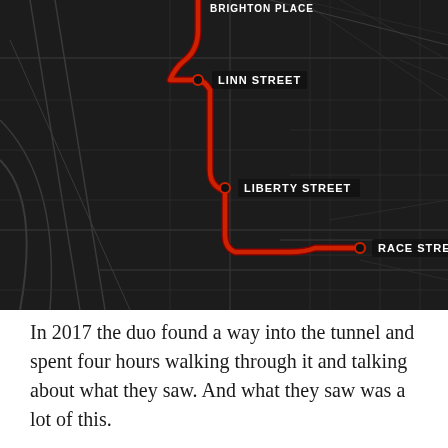[Figure (map): Dark map showing a red route path through city streets, with labeled waypoints: BRIGHTON PLACE (top, partially cut off), LINN STREET, LIBERTY STREET, and RACE STREET. The route is highlighted in red with black dots at each labeled intersection.]
In 2017 the duo found a way into the tunnel and spent four hours walking through it and talking about what they saw. And what they saw was a lot of this.